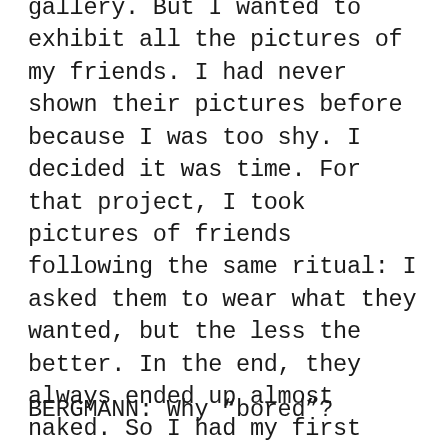gallery. But I wanted to exhibit all the pictures of my friends. I had never shown their pictures before because I was too shy. I decided it was time. For that project, I took pictures of friends following the same ritual: I asked them to wear what they wanted, but the less the better. In the end, they always ended up almost naked. So I had my first idea: “Naked.” And then I needed to find something about myself to put into the show, so the title became “Bored and Naked.”
BERGMANN: Why “bored”?